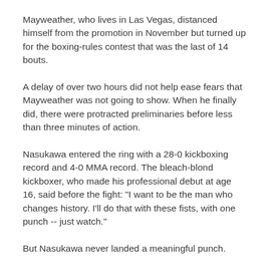Mayweather, who lives in Las Vegas, distanced himself from the promotion in November but turned up for the boxing-rules contest that was the last of 14 bouts.
A delay of over two hours did not help ease fears that Mayweather was not going to show. When he finally did, there were protracted preliminaries before less than three minutes of action.
Nasukawa entered the ring with a 28-0 kickboxing record and 4-0 MMA record. The bleach-blond kickboxer, who made his professional debut at age 16, said before the fight: "I want to be the man who changes history. I'll do that with these fists, with one punch -- just watch."
But Nasukawa never landed a meaningful punch.